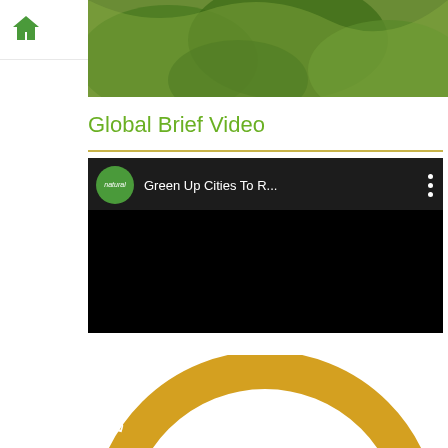Home navigation and menu button
[Figure (photo): Partial photo showing green plant/leaf content, cropped at top]
Global Brief Video
[Figure (screenshot): YouTube-style video embed showing 'Green Up Cities To R...' by natural channel, with black video body and three-dot menu]
[Figure (illustration): Partial circular badge/seal reading 'BUSINESS PERSON OF THE...' in gold with purple logo inside, cropped at bottom]